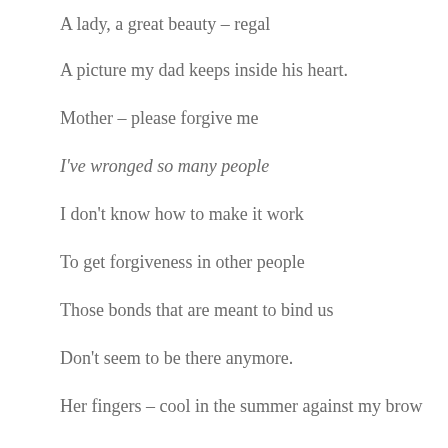A lady, a great beauty – regal
A picture my dad keeps inside his heart.
Mother – please forgive me
I've wronged so many people
I don't know how to make it work
To get forgiveness in other people
Those bonds that are meant to bind us
Don't seem to be there anymore.
Her fingers – cool in the summer against my brow